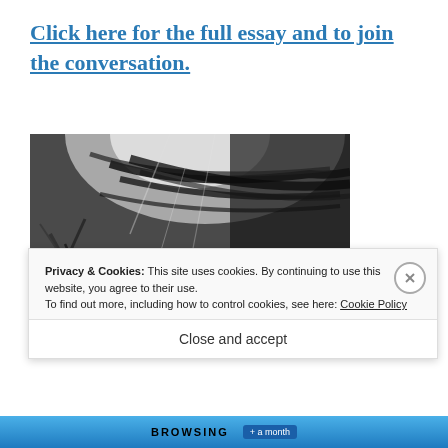Click here for the full essay and to join the conversation.
[Figure (photo): Black and white underwater or ethereal scene showing a figure in white clothing and flowing dark hair-like shapes with light rays from above, surrounded by abstract dark shapes resembling equipment or structures.]
Privacy & Cookies: This site uses cookies. By continuing to use this website, you agree to their use.
To find out more, including how to control cookies, see here: Cookie Policy
Close and accept
BROWSING